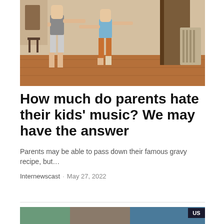[Figure (photo): A parent and child dancing together indoors on a wooden floor, both with arms spread out, the adult wearing grey shorts and the child wearing a blue shirt and orange pants.]
How much do parents hate their kids' music? We may have the answer
Parents may be able to pass down their famous gravy recipe, but…
Internewscast · May 27, 2022
[Figure (photo): Partial image at bottom of page showing people, with a US badge overlay.]